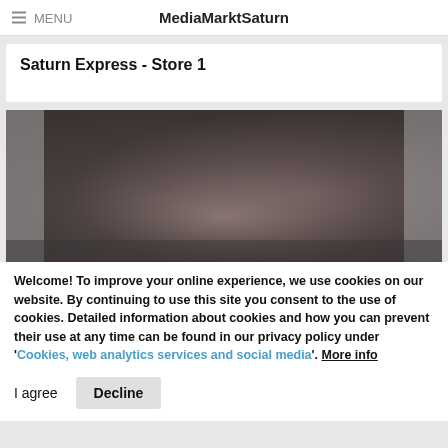MediaMarktSaturn
Saturn Express - Store 1
[Figure (photo): Blurred/dark photograph of a store interior]
Welcome! To improve your online experience, we use cookies on our website. By continuing to use this site you consent to the use of cookies. Detailed information about cookies and how you can prevent their use at any time can be found in our privacy policy under 'Cookies, web analytics services and social media'. More info
I agree   Decline